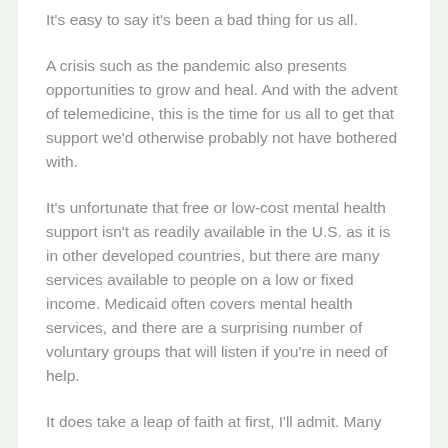It's easy to say it's been a bad thing for us all.
A crisis such as the pandemic also presents opportunities to grow and heal. And with the advent of telemedicine, this is the time for us all to get that support we'd otherwise probably not have bothered with.
It's unfortunate that free or low-cost mental health support isn't as readily available in the U.S. as it is in other developed countries, but there are many services available to people on a low or fixed income. Medicaid often covers mental health services, and there are a surprising number of voluntary groups that will listen if you're in need of help.
It does take a leap of faith at first, I'll admit. Many